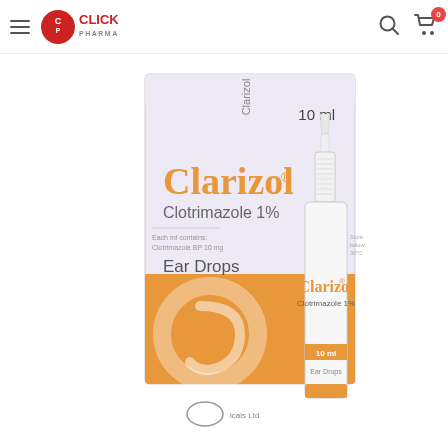Click Pharma — navigation header with hamburger menu, logo, search icon, cart icon (0 items)
[Figure (photo): Product photo of Clarizol (Clotrimazole 1%) Ear Drops 10ml — showing the white and orange medicine box alongside the white plastic dropper bottle, both labeled Clarizol Clotrimazole 1%, 10 ml, Ear Drops]
[Figure (photo): Small thumbnail image of the same Clarizol Ear Drops product box and bottle on the left side panel]